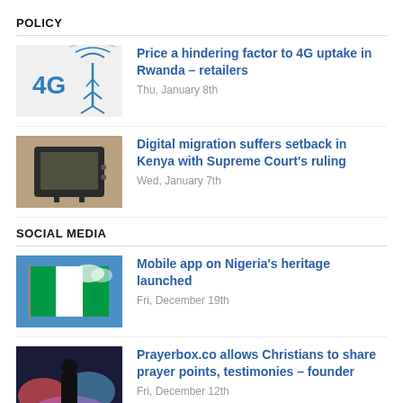POLICY
[Figure (illustration): 4G antenna tower icon with wireless signal waves]
Price a hindering factor to 4G uptake in Rwanda – retailers
Thu, January 8th
[Figure (photo): Old vintage television set on a textured background]
Digital migration suffers setback in Kenya with Supreme Court's ruling
Wed, January 7th
SOCIAL MEDIA
[Figure (photo): Nigerian flag waving against blue sky]
Mobile app on Nigeria's heritage launched
Fri, December 19th
[Figure (photo): Person standing against a colorful abstract background]
Prayerbox.co allows Christians to share prayer points, testimonies – founder
Fri, December 12th
STARTUPS